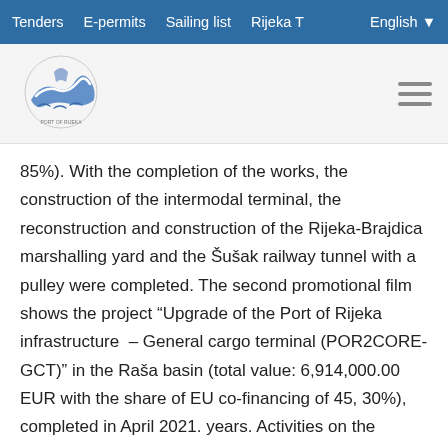Tenders   E-permits   Sailing list   Rijeka T   English
[Figure (logo): Port of Rijeka authority logo with stylized wave and anchor graphic]
85%). With the completion of the works, the construction of the intermodal terminal, the reconstruction and construction of the Rijeka-Brajdica marshalling yard and the Sušak railway tunnel with a pulley were completed. The second promotional film shows the project "Upgrade of the Port of Rijeka infrastructure – General cargo terminal (POR2CORE-GCT)" in the Raša basin (total value: 6,914,000.00 EUR with the share of EU co-financing of 45, 30%), completed in April 2021. years. Activities on the reconstruction of the terminal for